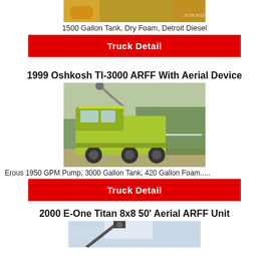[Figure (photo): Top cropped photo of a yellow fire truck, partially visible]
1500 Gallon Tank, Dry Foam, Detroit Diesel
Truck Detail
1999 Oshkosh TI-3000 ARFF With Aerial Device
[Figure (photo): Yellow-green Oshkosh TI-3000 ARFF truck with aerial device parked on gravel road with trees in background]
Erous 1950 GPM Pump, 3000 Gallon Tank, 420 Gallon Foam.....
Truck Detail
2000 E-One Titan 8x8 50' Aerial ARFF Unit
[Figure (photo): Bottom portion of aerial ARFF unit against cloudy sky, partially visible]